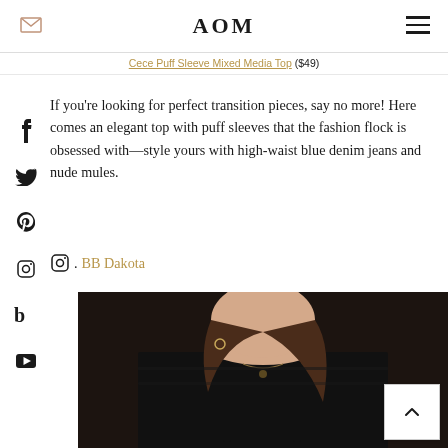AOM
Cece Puff Sleeve Mixed Media Top ($49)
If you’re looking for perfect transition pieces, say no more! Here comes an elegant top with puff sleeves that the fashion flock is obsessed with—style yours with high-waist blue denim jeans and nude mules.
. BB Dakota
[Figure (photo): Woman wearing a black sleeveless top with spaghetti straps and a small pendant necklace, shown from the shoulders up with wavy brown hair.]